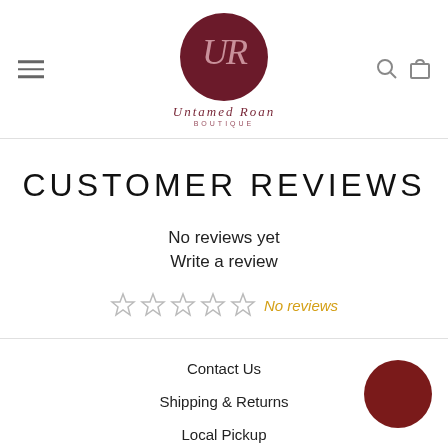[Figure (logo): Untamed Roan Boutique logo — circular dark maroon background with 'UR' monogram and cursive 'Untamed Roan BOUTIQUE' text below]
CUSTOMER REVIEWS
No reviews yet
Write a review
☆ ☆ ☆ ☆ ☆ No reviews
Contact Us
Shipping & Returns
Local Pickup